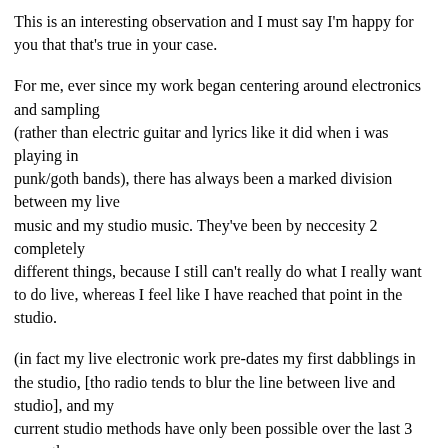This is an interesting observation and I must say I'm happy for you that that's true in your case.
For me, ever since my work began centering around electronics and sampling
(rather than electric guitar and lyrics like it did when i was playing in
punk/goth bands), there has always been a marked division between my live
music and my studio music. They've been by neccesity 2 completely
different things, because I still can't really do what I really want to do live, whereas I feel like I have reached that point in the studio.
(in fact my live electronic work pre-dates my first dabblings in the studio, [tho radio tends to blur the line between live and studio], and my
current studio methods have only been possible over the last 3 years thanx
to cheap desktop hard-disk editing systems - so in other words, my style
has developed in the studio and progressed to the aesthetic level i'm
pretty happy with, while my live work has not.)